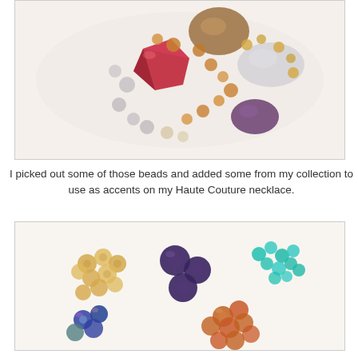[Figure (photo): A collection of various decorative beads in different colors and sizes including red, amber, purple, gray, clear, and gold tones arranged on a white background]
I picked out some of those beads and added some from my collection to use as accents on my Haute Couture necklace.
[Figure (photo): Several groups of beads arranged on a white background: golden/champagne faceted beads, dark purple round beads, teal/turquoise small bicone beads, multicolored iridescent round beads, and amber/orange faceted beads]
...